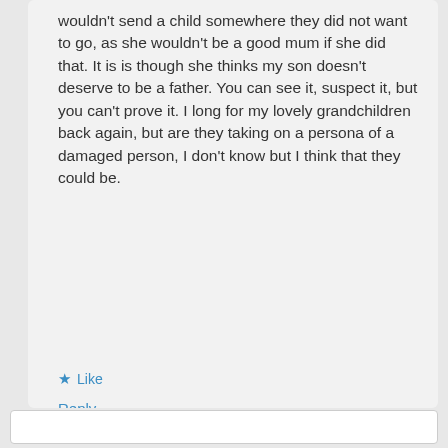wouldn't send a child somewhere they did not want to go, as she wouldn't be a good mum if she did that. It is is though she thinks my son doesn't deserve to be a father. You can see it, suspect it, but you can't prove it. I long for my lovely grandchildren back again, but are they taking on a persona of a damaged person, I don't know but I think that they could be.
★ Like
Reply